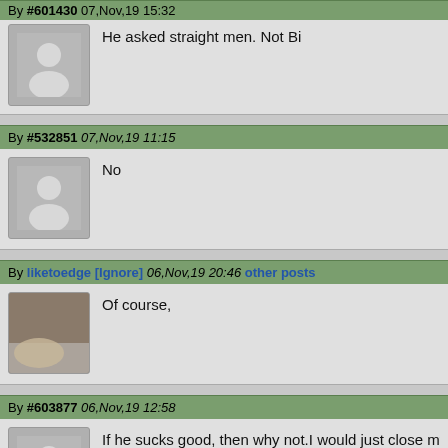By #601430 07,Nov,19 15:32
He asked straight men. Not Bi
By #532851 07,Nov,19 11:15
No
By liketoedge [Ignore] 06,Nov,19 20:46 other posts
Of course,
By #603877 06,Nov,19 12:58
If he sucks good, then why not.I would just close my eye